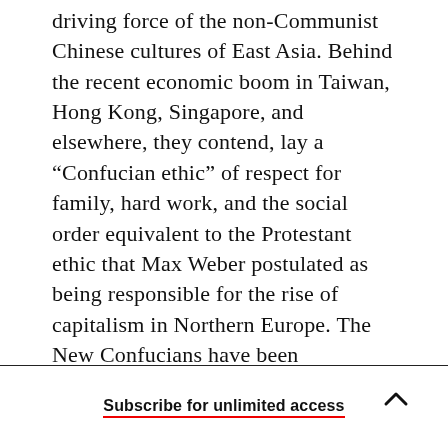driving force of the non-Communist Chinese cultures of East Asia. Behind the recent economic boom in Taiwan, Hong Kong, Singapore, and elsewhere, they contend, lay a “Confucian ethic” of respect for family, hard work, and the social order equivalent to the Protestant ethic that Max Weber postulated as being responsible for the rise of capitalism in Northern Europe. The New Confucians have been promoting an updated Confucianism—minus such atavistic features as the ancestor cult and an offhand attitude toward women—as the underpinnings of both the human-
Subscribe for unlimited access